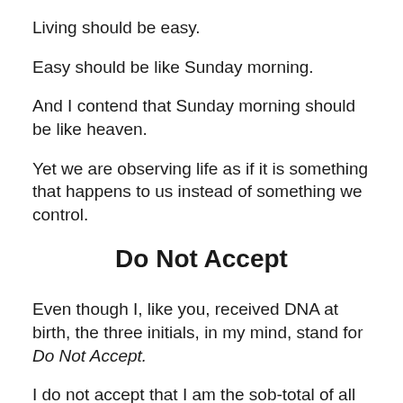Living should be easy.
Easy should be like Sunday morning.
And I contend that Sunday morning should be like heaven.
Yet we are observing life as if it is something that happens to us instead of something we control.
Do Not Accept
Even though I, like you, received DNA at birth, the three initials, in my mind, stand for Do Not Accept.
I do not accept that I am the sob-total of all of my molecules, colliding and fussing with one another.
I do not accept that I have to be white just because my